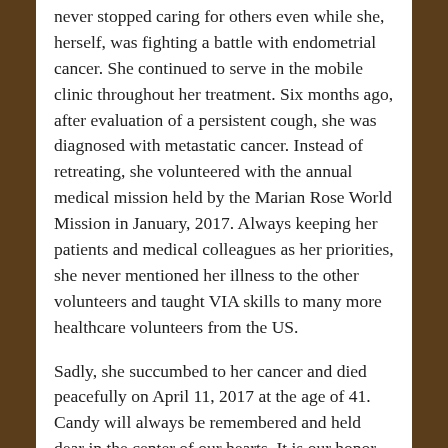never stopped caring for others even while she, herself, was fighting a battle with endometrial cancer. She continued to serve in the mobile clinic throughout her treatment. Six months ago, after evaluation of a persistent cough, she was diagnosed with metastatic cancer. Instead of retreating, she volunteered with the annual medical mission held by the Marian Rose World Mission in January, 2017. Always keeping her patients and medical colleagues as her priorities, she never mentioned her illness to the other volunteers and taught VIA skills to many more healthcare volunteers from the US.
Sadly, she succumbed to her cancer and died peacefully on April 11, 2017 at the age of 41. Candy will always be remembered and held dear in the center of our hearts. It is our honor to present this award posthumously as a testament to the humanistic nursing ideals she lived by and in appreciation of her life's service to those most vulnerable.